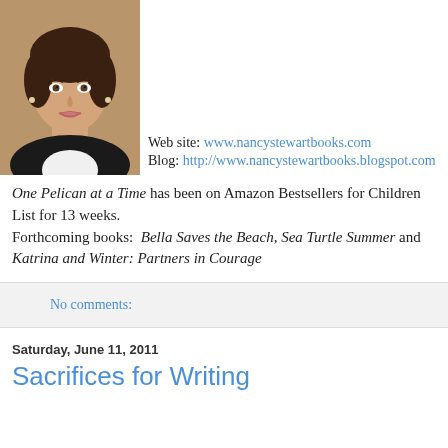[Figure (photo): Headshot of a woman with short dark hair, wearing a dark jacket and white blouse, smiling at the camera.]
Web site: www.nancystewartbooks.com
Blog: http://www.nancystewartbooks.blogspot.com
One Pelican at a Time has been on Amazon Bestsellers for Children List for 13 weeks.
Forthcoming books: Bella Saves the Beach, Sea Turtle Summer and Katrina and Winter: Partners in Courage
No comments:
Saturday, June 11, 2011
Sacrifices for Writing